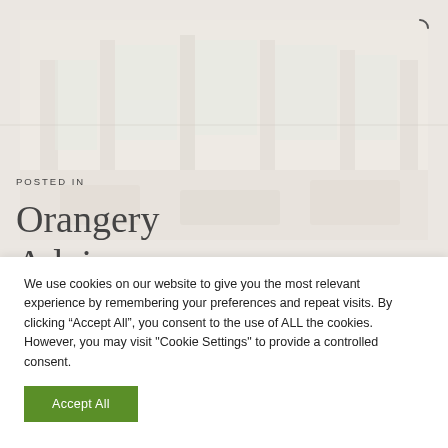[Figure (photo): Faded/washed-out photo of an orangery or conservatory interior/exterior with light-toned furniture and large windows]
POSTED IN
Orangery
Advice
We use cookies on our website to give you the most relevant experience by remembering your preferences and repeat visits. By clicking “Accept All”, you consent to the use of ALL the cookies. However, you may visit "Cookie Settings" to provide a controlled consent.
Accept All